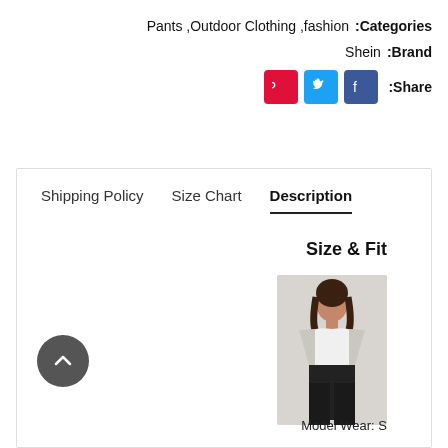Categories: fashion, Outdoor Clothing, Pants
Brand: Shein
Share: [Pinterest] [Twitter] [Facebook]
Description
Shipping Policy    Size Chart    Description
Size & Fit
[Figure (photo): Fashion model wearing a white crop top and dark pants with an open jacket]
Model Wear: S